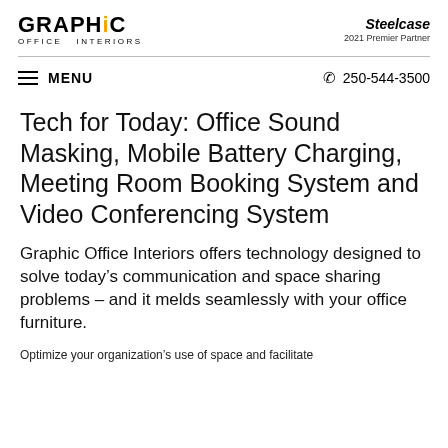GRAPHIC OFFICE INTERIORS | Steelcase 2021 Premier Partner
MENU | 250-544-3500
Tech for Today: Office Sound Masking, Mobile Battery Charging, Meeting Room Booking System and Video Conferencing System
Graphic Office Interiors offers technology designed to solve today’s communication and space sharing problems – and it melds seamlessly with your office furniture.
Optimize your organization’s use of space and facilitate